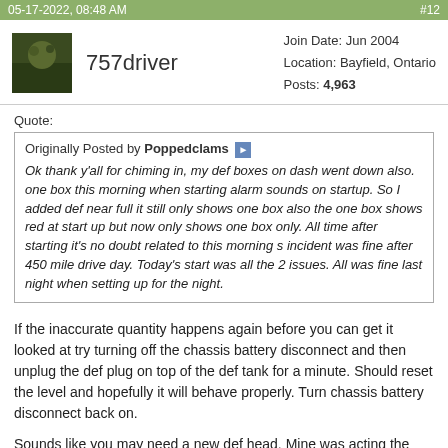05-17-2022, 08:48 AM   #12
757driver
Join Date: Jun 2004
Location: Bayfield, Ontario
Posts: 4,963
Quote:
Originally Posted by Poppedclams
Ok thank y'all for chiming in, my def boxes on dash went down also. one box this morning when starting alarm sounds on startup. So I added def near full it still only shows one box also the one box shows red at start up but now only shows one box only. All time after starting it's no doubt related to this morning s incident was fine after 450 mile drive day. Today's start was all the 2 issues. All was fine last night when setting up for the night.
If the inaccurate quantity happens again before you can get it looked at try turning off the chassis battery disconnect and then unplug the def plug on top of the def tank for a minute. Should reset the level and hopefully it will behave properly. Turn chassis battery disconnect back on.
Sounds like you may need a new def head. Mine was acting the same way on the trip home from AZ. At one point had to pull over about 4